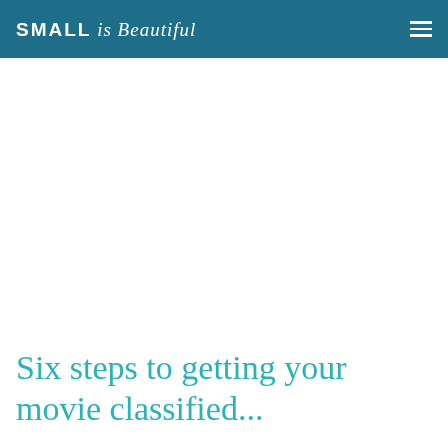SMALL is Beautiful
Six steps to getting your movie classified...